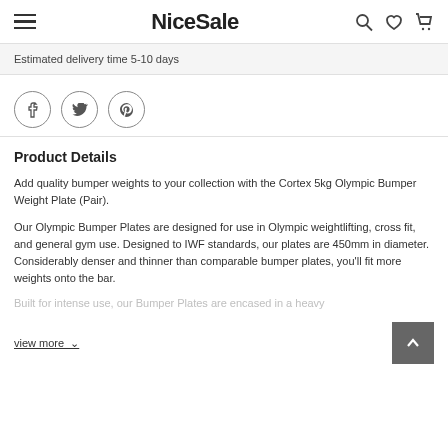NiceSale
Estimated delivery time 5-10 days
[Figure (other): Social sharing icons: Facebook, Twitter, Pinterest in circular borders]
Product Details
Add quality bumper weights to your collection with the Cortex 5kg Olympic Bumper Weight Plate (Pair).
Our Olympic Bumper Plates are designed for use in Olympic weightlifting, cross fit, and general gym use. Designed to IWF standards, our plates are 450mm in diameter. Considerably denser and thinner than comparable bumper plates, you'll fit more weights onto the bar.
Built for intense use, our Bumper Plates are encased in a heavy
view more ∨